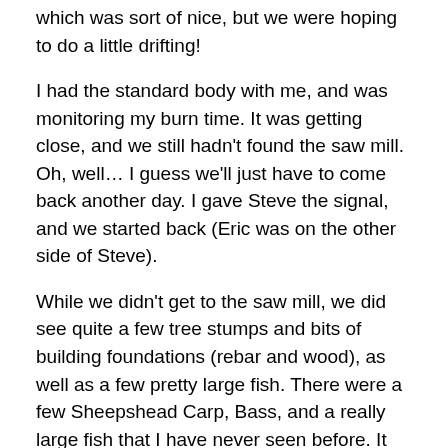which was sort of nice, but we were hoping to do a little drifting!
I had the standard body with me, and was monitoring my burn time. It was getting close, and we still hadn't found the saw mill. Oh, well… I guess we'll just have to come back another day. I gave Steve the signal, and we started back (Eric was on the other side of Steve).
While we didn't get to the saw mill, we did see quite a few tree stumps and bits of building foundations (rebar and wood), as well as a few pretty large fish. There were a few Sheepshead Carp, Bass, and a really large fish that I have never seen before. It looked a bit like a Yellow Perch, but was quite large. Same colouring. I will keep searching, to see if I can find out what it was.
Very cool place to dive!